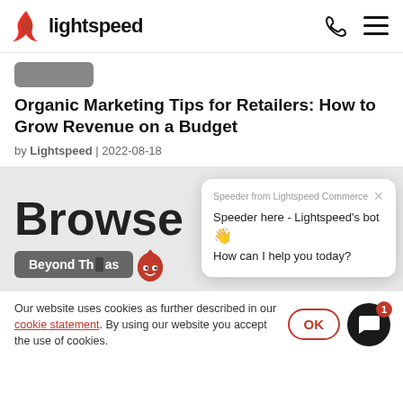lightspeed
Organic Marketing Tips for Retailers: How to Grow Revenue on a Budget
by Lightspeed | 2022-08-18
[Figure (screenshot): Gray hero section with large 'Browse' text partially visible, a gray 'Beyond Th...as' button, and a chatbot popup from Speeder from Lightspeed Commerce saying 'Speeder here - Lightspeed's bot 👋 How can I help you today?']
Our website uses cookies as further described in our cookie statement. By using our website you accept the use of cookies.